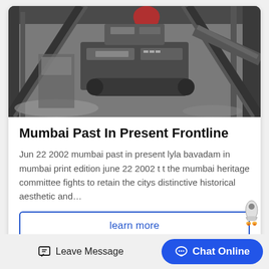[Figure (photo): Industrial machinery scene showing conveyor belts, metal framework, and equipment in a dusty factory or mining facility. Heavy grey metallic equipment with steel girders visible.]
Mumbai Past In Present Frontline
Jun 22 2002 mumbai past in present lyla bavadam in mumbai print edition june 22 2002 t t the mumbai heritage committee fights to retain the citys distinctive historical aesthetic and…
learn more
Leave Message
Chat Online